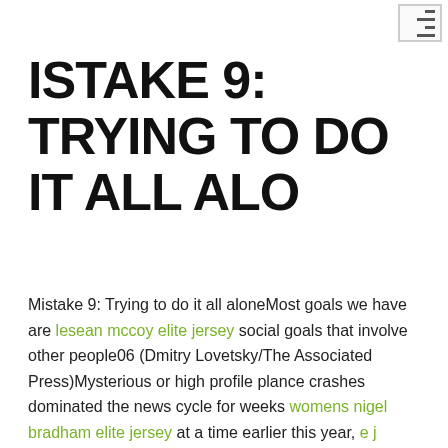ISTAKE 9: TRYING TO DO IT ALL ALO
Mistake 9: Trying to do it all aloneMost goals we have are lesean mccoy elite jersey social goals that involve other people06 (Dmitry Lovetsky/The Associated Press)Mysterious or high profile plance crashes dominated the news cycle for weeks womens nigel bradham elite jersey at a time earlier this year, e j manuel pink jersey prompting some to wonder whether it would impact the airline youth aaron williams limited jersey industryUS Aid still flowing to Egypt after violence and earlier coupThe death toll, which stood at 525, according to the latest Health Ministry figures,